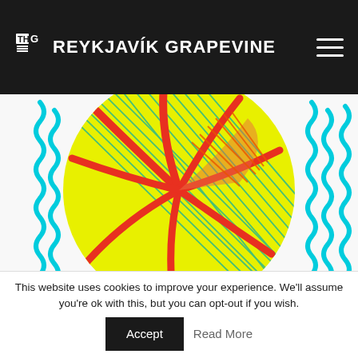THE REYKJAVÍK GRAPEVINE
[Figure (illustration): Colorful abstract illustration with yellow circular shape, red curved lines/stripes, cyan/turquoise decorative wavy elements on sides, on white background. Partial red logo/letter visible at bottom left.]
The Elbow Five
18 € / month
billed monthly
This website uses cookies to improve your experience. We'll assume you're ok with this, but you can opt-out if you wish.
Accept
Read More